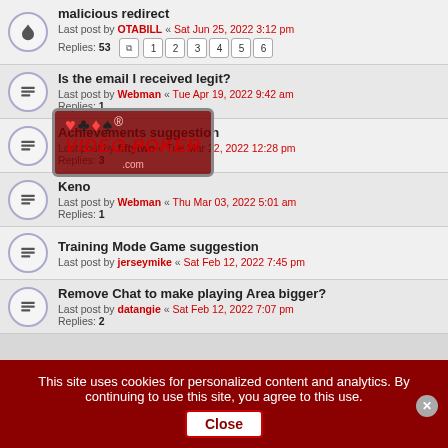malicious redirect — Last post by OTABILL « Sat Jun 25, 2022 3:12 pm — Replies: 53
[Figure (illustration): Video poker forum overlay banner with card suits and stylized text]
Is the email I received legit? — Last post by Webman « Tue Apr 19, 2022 9:42 am — Replies: 1
Achievements suggestion — Last post by fiftytwo « Tue Mar 22, 2022 12:28 pm — Replies: 3
Keno — Last post by Webman « Thu Mar 03, 2022 5:01 am — Replies: 1
Training Mode Game suggestion — Last post by jerseymike « Sat Feb 12, 2022 7:45 pm
Remove Chat to make playing Area bigger? — Last post by datangie « Sat Feb 12, 2022 7:07 pm — Replies: 2
This site uses cookies for personalized content and analytics. By continuing to use this site, you agree to this use. Close